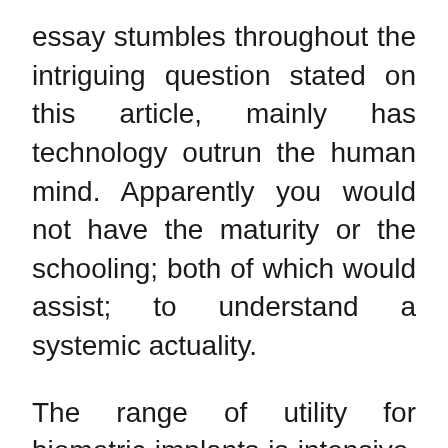essay stumbles throughout the intriguing question stated on this article, mainly has technology outrun the human mind. Apparently you would not have the maturity or the schooling; both of which would assist; to understand a systemic actuality.
The range of utility for biometric implants is intensive, and technologies like retina scans and biometric implants are essential to law enforcement businesses like the Federal Bureau of Investigation (FBI)